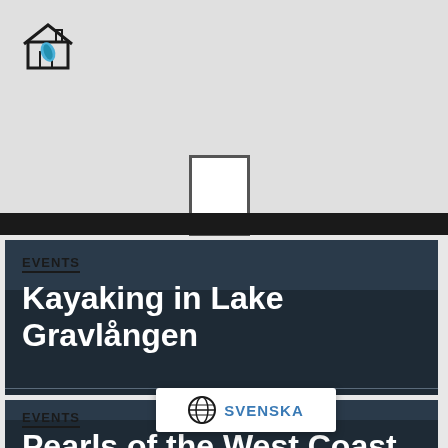[Figure (logo): House/home icon with a leaf, top-left corner]
[Figure (illustration): Centered vertical rectangle outline representing a door or window on grey background]
EVENTS
Kayaking in Lake Gravlången
EVENTS
Pearls of the West Coast
[Figure (other): Svenska language selector overlay with globe icon and text SVENSKA]